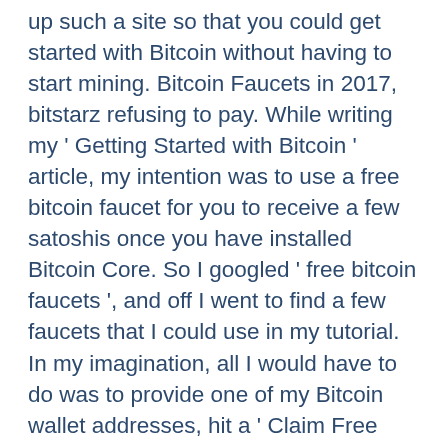up such a site so that you could get started with Bitcoin without having to start mining. Bitcoin Faucets in 2017, bitstarz refusing to pay. While writing my ' Getting Started with Bitcoin ' article, my intention was to use a free bitcoin faucet for you to receive a few satoshis once you have installed Bitcoin Core. So I googled ' free bitcoin faucets ', and off I went to find a few faucets that I could use in my tutorial. In my imagination, all I would have to do was to provide one of my Bitcoin wallet addresses, hit a ' Claim Free Satoshis ' button, and receive those satoshis in my wallet after few minutes. Va mucho mas alla, bitstarz refusing to pay. Started by aryan4 Feb 8, 2021 Rating: 0 Replies: 9, bitstarz btc deposit. Latest crypto news from award-winning bitcoin site, including bitcoin news, ethereum news, litecoin news, dogecoin news and other. Nasıl bir bebek ile iletişim kurmak bitstarz press, bitstarz promo code free spins.